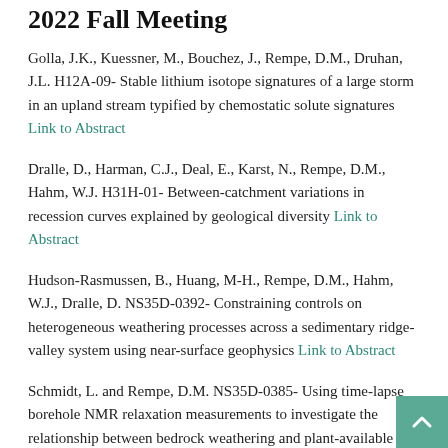2022 Fall Meeting
Golla, J.K., Kuessner, M., Bouchez, J., Rempe, D.M., Druhan, J.L. H12A-09- Stable lithium isotope signatures of a large storm in an upland stream typified by chemostatic solute signatures Link to Abstract
Dralle, D., Harman, C.J., Deal, E., Karst, N., Rempe, D.M., Hahm, W.J. H31H-01- Between-catchment variations in recession curves explained by geological diversity Link to Abstract
Hudson-Rasmussen, B., Huang, M-H., Rempe, D.M., Hahm, W.J., Dralle, D. NS35D-0392- Constraining controls on heterogeneous weathering processes across a sedimentary ridge-valley system using near-surface geophysics Link to Abstract
Schmidt, L. and Rempe, D.M. NS35D-0385- Using time-lapse borehole NMR relaxation measurements to investigate the relationship between bedrock weathering and plant-available